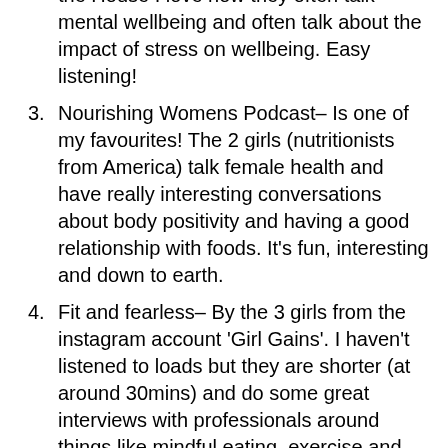the House I love how they often talk mental wellbeing and often talk about the impact of stress on wellbeing. Easy listening!
Nourishing Womens Podcast– Is one of my favourites! The 2 girls (nutritionists from America) talk female health and have really interesting conversations about body positivity and having a good relationship with foods. It's fun, interesting and down to earth.
Fit and fearless– By the 3 girls from the instagram account 'Girl Gains'. I haven't listened to loads but they are shorter (at around 30mins) and do some great interviews with professionals around things like mindful eating, exercise and health. I love that they use examples of their own experiences with food and again it's easy to listen to.
Talking tastebuds– Another new one I have only just started listening too but so